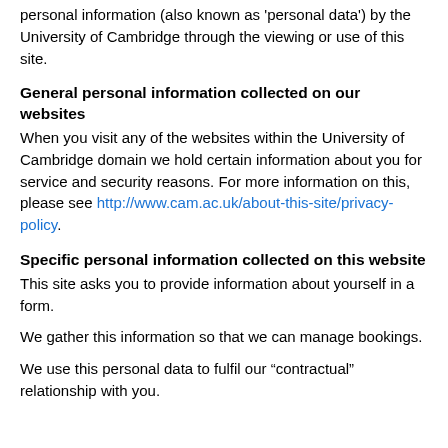personal information (also known as 'personal data') by the University of Cambridge through the viewing or use of this site.
General personal information collected on our websites
When you visit any of the websites within the University of Cambridge domain we hold certain information about you for service and security reasons. For more information on this, please see http://www.cam.ac.uk/about-this-site/privacy-policy.
Specific personal information collected on this website
This site asks you to provide information about yourself in a form.
We gather this information so that we can manage bookings.
We use this personal data to fulfil our “contractual” relationship with you.